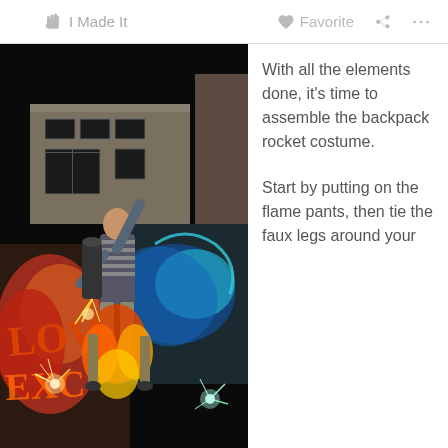I Made It   Favorite   ...
[Figure (photo): Night photograph of a person wearing a backpack rocket costume with flame pants (red and yellow feathered fringe) and faux legs, posing outdoors in front of a graffiti-covered wall, with sparks/fireworks visible on the ground.]
With all the elements done, it's time to assemble the backpack rocket costume.

Start by putting on the flame pants, then tie the faux legs around your